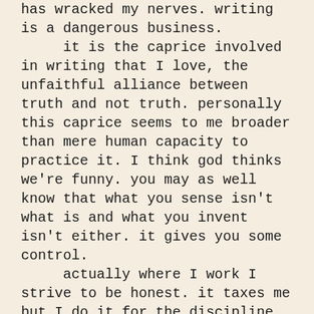has wracked my nerves. writing is a dangerous business.
    it is the caprice involved in writing that I love, the unfaithful alliance between truth and not truth. personally this caprice seems to me broader than mere human capacity to practice it. I think god thinks we're funny. you may as well know that what you sense isn't what is and what you invent isn't either. it gives you some control.
    actually where I work I strive to be honest. it taxes me but I do it for the discipline. and in relation to friends and lovers I strive to honestly convey my emotions. this involves over-simplification as I can't imagine loving someone I didn't dislike. art doesn't flourish from over-simplification but human relationships seem to.
    I do not mean to be facetious. I,